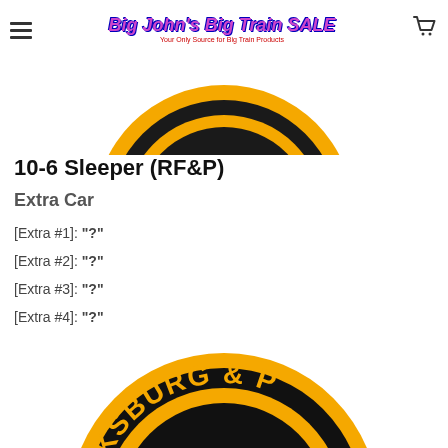Big John's Big Train SALE — Your Only Source for Big Train Products
[Figure (photo): Top portion of a circular train logo badge with black and gold/yellow coloring, cropped to show only the bottom arc]
10-6 Sleeper (RF&P)
Extra Car
[Extra #1]: "?"
[Extra #2]: "?"
[Extra #3]: "?"
[Extra #4]: "?"
[Figure (photo): Bottom portion of a circular train company logo badge showing text 'ICKSBURG & P' in gold letters on black background with yellow border ring, partially cropped]